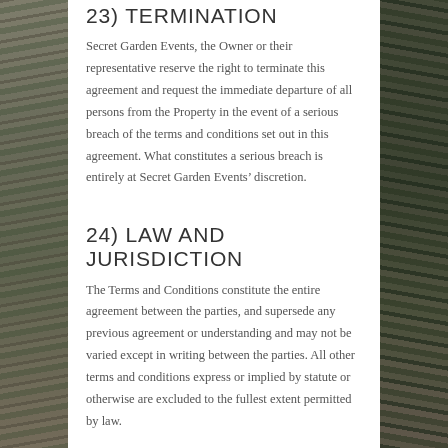23) TERMINATION
Secret Garden Events, the Owner or their representative reserve the right to terminate this agreement and request the immediate departure of all persons from the Property in the event of a serious breach of the terms and conditions set out in this agreement. What constitutes a serious breach is entirely at Secret Garden Events’ discretion.
24) LAW AND JURISDICTION
The Terms and Conditions constitute the entire agreement between the parties, and supersede any previous agreement or understanding and may not be varied except in writing between the parties. All other terms and conditions express or implied by statute or otherwise are excluded to the fullest extent permitted by law.